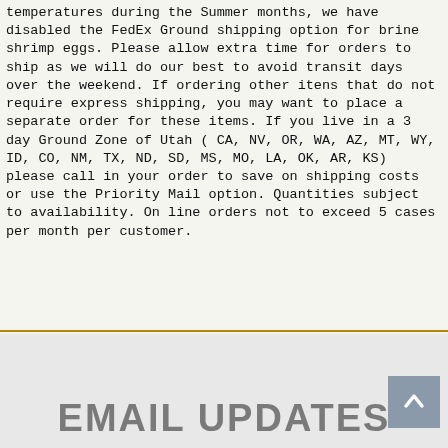temperatures during the Summer months, we have disabled the FedEx Ground shipping option for brine shrimp eggs. Please allow extra time for orders to ship as we will do our best to avoid transit days over the weekend. If ordering other itens that do not require express shipping, you may want to place a separate order for these items. If you live in a 3 day Ground Zone of Utah ( CA, NV, OR, WA, AZ, MT, WY, ID, CO, NM, TX, ND, SD, MS, MO, LA, OK, AR, KS) please call in your order to save on shipping costs or use the Priority Mail option. Quantities subject to availability. On line orders not to exceed 5 cases per month per customer.
EMAIL UPDATES